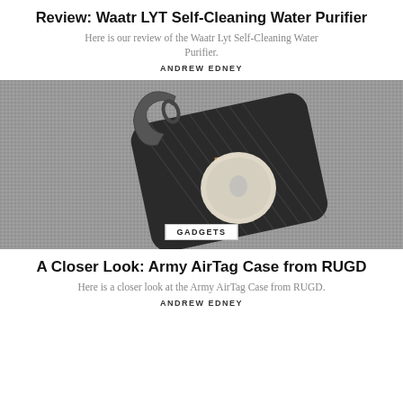Review: Waatr LYT Self-Cleaning Water Purifier
Here is our review of the Waatr Lyt Self-Cleaning Water Purifier.
ANDREW EDNEY
[Figure (photo): A RUGD Army AirTag case with a metal carabiner clip, shown on a grey fabric background. The case is dark/black with diagonal ridge texture and has a white circular Apple AirTag visible.]
GADGETS
A Closer Look: Army AirTag Case from RUGD
Here is a closer look at the Army AirTag Case from RUGD.
ANDREW EDNEY